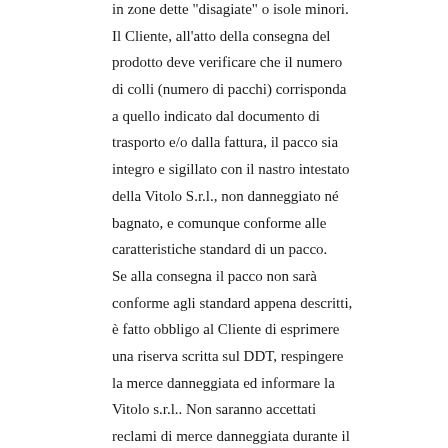in zone dette "disagiate" o isole minori. Il Cliente, all'atto della consegna del prodotto deve verificare che il numero di colli (numero di pacchi) corrisponda a quello indicato dal documento di trasporto e/o dalla fattura, il pacco sia integro e sigillato con il nastro intestato della Vitolo S.r.l., non danneggiato né bagnato, e comunque conforme alle caratteristiche standard di un pacco. Se alla consegna il pacco non sarà conforme agli standard appena descritti, è fatto obbligo al Cliente di esprimere una riserva scritta sul DDT, respingere la merce danneggiata ed informare la Vitolo s.r.l.. Non saranno accettati reclami di merce danneggiata durante il trasporto, qualora l'utente non abbia